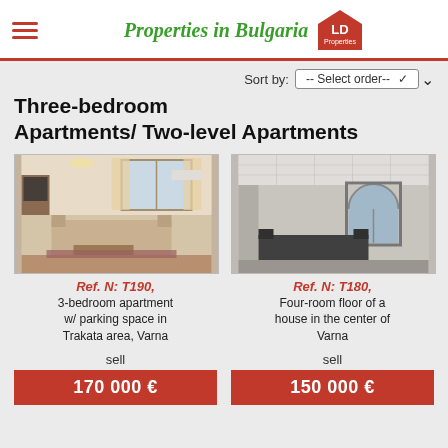Properties in Bulgaria — LD Properties
Sort by: -- Select order--
Three-bedroom Apartments/ Two-level Apartments
[Figure (photo): Interior photo of a living room with sofa, coffee table, and window with curtains]
Ref. N: T190, 3-bedroom apartment w/ parking space in Trakata area, Varna
sell
170 000 €
[Figure (photo): Interior photo of a room with arched window and dark sofa set]
Ref. N: T180, Four-room floor of a house in the center of Varna
sell
150 000 €